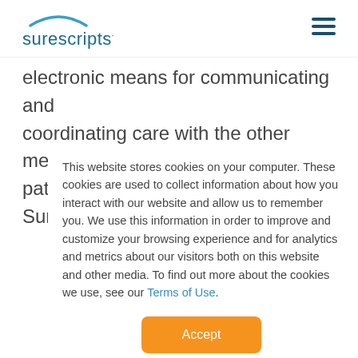[Figure (logo): Surescripts logo with teal arc above text]
electronic means for communicating and coordinating care with the other members of a patient's care team. According to Surescripts
This website stores cookies on your computer. These cookies are used to collect information about how you interact with our website and allow us to remember you. We use this information in order to improve and customize your browsing experience and for analytics and metrics about our visitors both on this website and other media. To find out more about the cookies we use, see our Terms of Use.
Accept